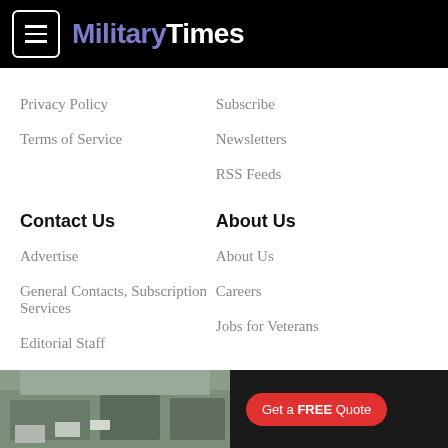MilitaryTimes
Privacy Policy
Subscribe
Terms of Service
Newsletters
RSS Feeds
Contact Us
About Us
Advertise
About Us
General Contacts, Subscription Services
Careers
Editorial Staff
Jobs for Veterans
[Figure (photo): Advertisement banner with kitchen photo and 'Get a FREE Quote' button]